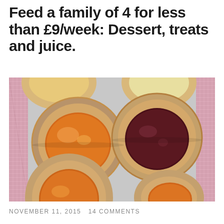Feed a family of 4 for less than £9/week: Dessert, treats and juice.
[Figure (photo): Overhead photo of jam tarts on a light grey tray with a pink gingham cloth on the left side. Two full tarts visible in the centre — one with golden/orange jam (apricot) and one with dark red/purple jam (berry). Partial tarts visible at top and bottom edges.]
NOVEMBER 11, 2015   14 COMMENTS